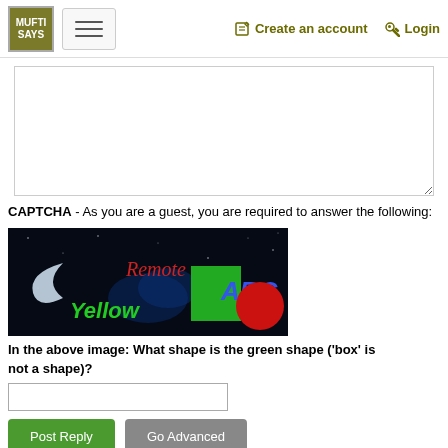MUFTI SAYS | [hamburger menu] | Create an account | Login
[Figure (screenshot): Text area / comment input box (empty)]
CAPTCHA - As you are a guest, you are required to answer the following:
[Figure (illustration): CAPTCHA image with dark space background showing the words: 'Yellow' in green, 'Remote' in red, 'ABC' in blue, a green rectangle, and a red circle.]
In the above image: What shape is the green shape ('box' is not a shape)?
[Figure (screenshot): Text input field for CAPTCHA answer]
Post Reply    Go Advanced